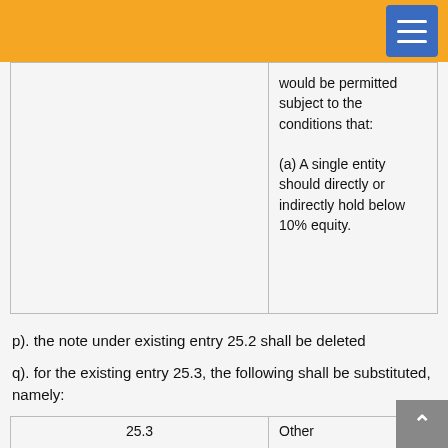|  | would be permitted subject to the conditions that:
(a) A single entity should directly or indirectly hold below 10% equity. |
p). the note under existing entry 25.2 shall be deleted
q). for the existing entry 25.3, the following shall be substituted, namely:
| 25.3 | Other |